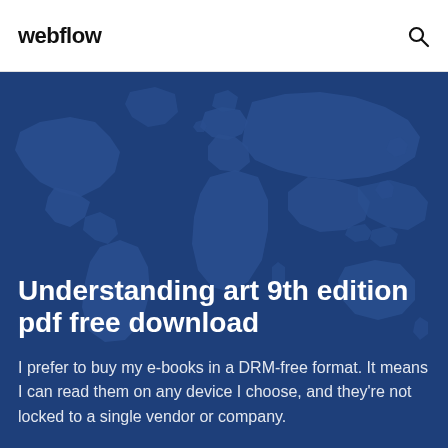webflow
Understanding art 9th edition pdf free download
I prefer to buy my e-books in a DRM-free format. It means I can read them on any device I choose, and they're not locked to a single vendor or company.